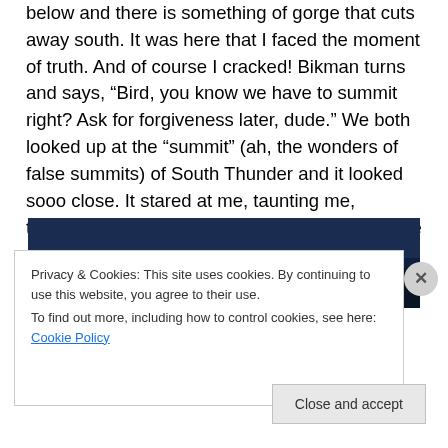below and there is something of gorge that cuts away south. It was here that I faced the moment of truth. And of course I cracked! Bikman turns and says, “Bird, you know we have to summit right? Ask for forgiveness later, dude.” We both looked up at the “summit” (ah, the wonders of false summits) of South Thunder and it looked sooo close. It stared at me, taunting me, tempting me, beckoning me like a siren. And like one of Odysseus’ men, I was oh so easily enraptured. “Onward and upward my good man.”
[Figure (photo): Dark blue/navy photograph area, partially visible, showing a dark outdoor scene]
Privacy & Cookies: This site uses cookies. By continuing to use this website, you agree to their use.
To find out more, including how to control cookies, see here: Cookie Policy